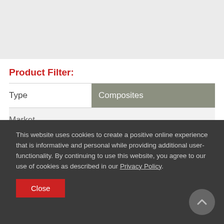Product Filter:
Type	Composites
Market
This website uses cookies to create a positive online experience that is informative and personal while providing additional user-functionality. By continuing to use this website, you agree to our use of cookies as described in our Privacy Policy.
Close